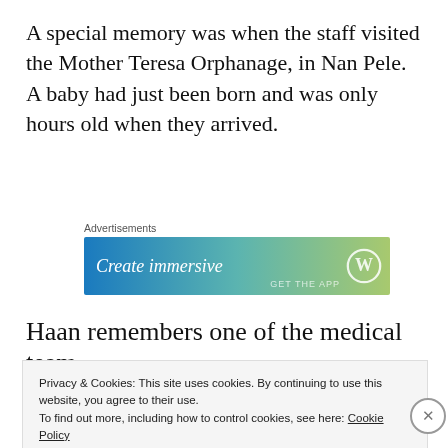A special memory was when the staff visited the Mother Teresa Orphanage, in Nan Pele. A baby had just been born and was only hours old when they arrived.
[Figure (other): Advertisements banner — 'Create immersive' with WordPress logo, gradient blue-green background]
Haan remembers one of the medical team
Privacy & Cookies: This site uses cookies. By continuing to use this website, you agree to their use.
To find out more, including how to control cookies, see here: Cookie Policy
Close and accept